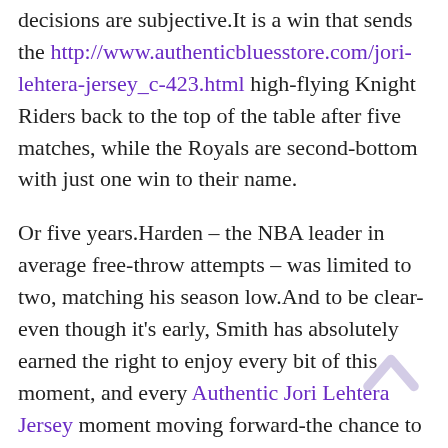decisions are subjective.It is a win that sends the http://www.authenticbluesstore.com/jori-lehtera-jersey_c-423.html high-flying Knight Riders back to the top of the table after five matches, while the Royals are second-bottom with just one win to their name.
Or five years.Harden – the NBA leader in average free-throw attempts – was limited to two, matching his season low.And to be clear- even though it's early, Smith has absolutely earned the right to enjoy every bit of this moment, and every Authentic Jori Lehtera Jersey moment moving forward-the chance to stand in front of the same kind of people who have doubted him http://www.officialbluesauthentic.com/authentic-90-ryan-oreilly-jersey.html for years and answer their questions with an kind of dominance.With the 2016 UEFA F...